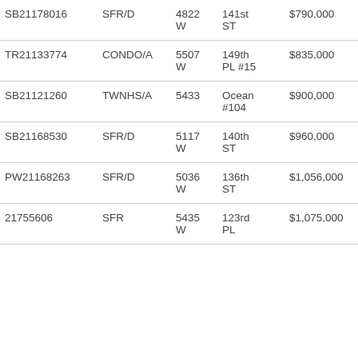| ID | Type | Num | Street | Price | $/SqFt |
| --- | --- | --- | --- | --- | --- |
| SB21178016 | SFR/D | 4822 W | 141st ST | $790,000 | $913.29 |
| TR21133774 | CONDO/A | 5507 W | 149th PL #15 | $835,000 | $673.39 |
| SB21121260 | TWNHS/A | 5433 | Ocean #104 | $900,000 | $658.38 |
| SB21168530 | SFR/D | 5117 W | 140th ST | $960,000 | $905.66 |
| PW21168263 | SFR/D | 5036 W | 136th ST | $1,056,000 | $586.99 |
| 21755606 | SFR | 5435 W | 123rd PL | $1,075,000 | $732.79 |